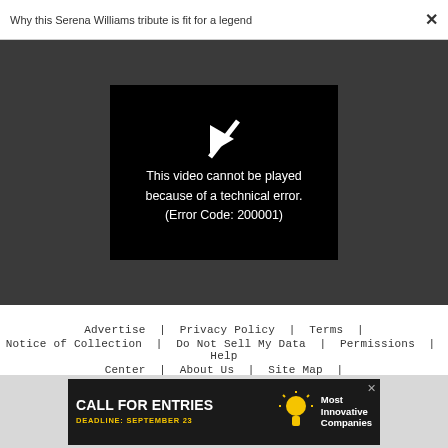Why this Serena Williams tribute is fit for a legend  ×
[Figure (screenshot): Video player showing error message: 'This video cannot be played because of a technical error. (Error Code: 200001)' on black background within dark gray area]
Advertise | Privacy Policy | Terms | Notice of Collection | Do Not Sell My Data | Permissions | Help Center | About Us | Site Map | Fast Company & Inc © 2022 Mansueto Ventures, LLC
[Figure (infographic): Advertisement banner: CALL FOR ENTRIES — DEADLINE: SEPTEMBER 23 — Most Innovative Companies]